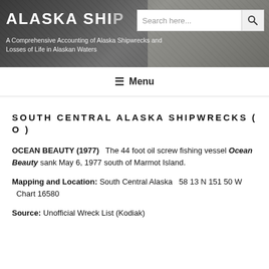ALASKA SHI... A Comprehensive Accounting of Alaska Shipwrecks and Losses of Life in Alaskan Waters
Menu
SOUTH CENTRAL ALASKA SHIPWRECKS ( O )
OCEAN BEAUTY (1977)   The 44 foot oil screw fishing vessel Ocean Beauty sank May 6, 1977 south of Marmot Island.
Mapping and Location: South Central Alaska   58 13 N 151 50 W   Chart 16580
Source: Unofficial Wreck List (Kodiak)